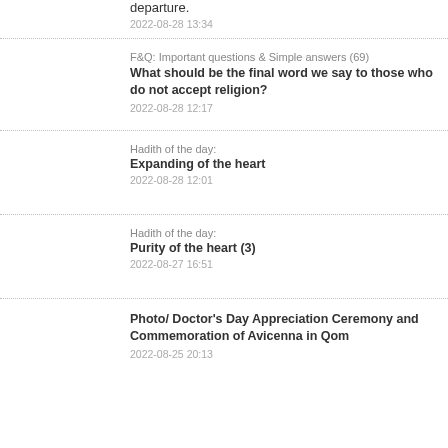departure.
2022-08-28 13:34
F&Q: Important questions & Simple answers (69)
What should be the final word we say to those who do not accept religion?
2022-08-28 12:17
Hadith of the day:
Expanding of the heart
2022-08-28 12:01
Hadith of the day:
Purity of the heart (3)
2022-08-27 16:51
Photo/ Doctor's Day Appreciation Ceremony and Commemoration of Avicenna in Qom
2022-08-25 20:13